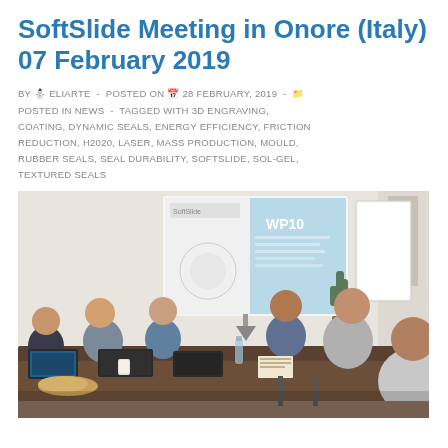SoftSlide Meeting in Onore (Italy) 07 February 2019
BY ELIARTE - POSTED ON 28 FEBRUARY, 2019 - POSTED IN NEWS - TAGGED WITH 3D ENGRAVING, COATING, DYNAMIC SEALS, ENERGY EFFICIENCY, FRICTION REDUCTION, H2020, LASER, MASS PRODUCTION, MOULD, RUBBER SEALS, SEAL DURABILITY, SOFTSLIDE, SOL-GEL, TEXTURED SEALS
[Figure (photo): Group of people seated around a conference table with laptops, food, and water bottles. A projector screen displays a SoftSlide WP10 presentation slide. A whiteboard and a cactus plant are visible in the background.]